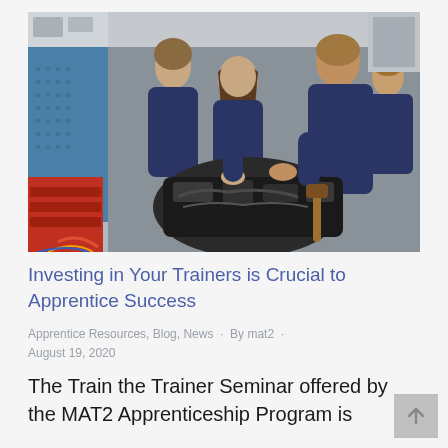[Figure (photo): Group of young apprentices in navy blue polo shirts working on a mechanical engine/motor assembly in a workshop setting. Multiple trainees leaning over the engine, with workshop equipment and a blue pegboard visible in the background.]
Investing in Your Trainers is Crucial to Apprentice Success
Apprentice Resources, Blog, News · By mat2 · August 19, 2020
The Train the Trainer Seminar offered by the MAT2 Apprenticeship Program is